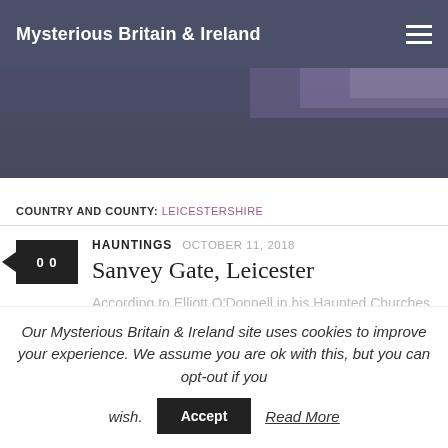Mysterious Britain & Ireland
[Figure (photo): Hero banner image with purple-tinted landscape or scenic background]
COUNTRY AND COUNTY: LEICESTERSHIRE
HAUNTINGS  OCTOBER 11, 2018
Sanvey Gate, Leicester
According to Elliott O'Donnell in his Haunted Churches (1939), a 'ghost used to haunt a house in Sanvey Gate and is described as ...
Our Mysterious Britain & Ireland site uses cookies to improve your experience. We assume you are ok with this, but you can opt-out if you wish.